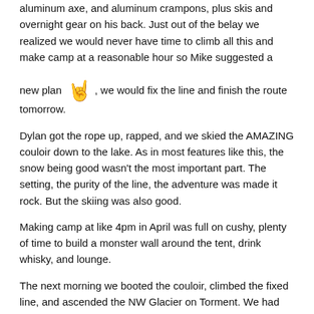aluminum axe, and aluminum crampons, plus skis and overnight gear on his back. Just out of the belay we realized we would never have time to climb all this and make camp at a reasonable hour so Mike suggested a new plan 🤘, we would fix the line and finish the route tomorrow.
Dylan got the rope up, rapped, and we skied the AMAZING couloir down to the lake. As in most features like this, the snow being good wasn't the most important part. The setting, the purity of the line, the adventure was made it rock. But the skiing was also good.
Making camp at like 4pm in April was full on cushy, plenty of time to build a monster wall around the tent, drink whisky, and lounge.
The next morning we booted the couloir, climbed the fixed line, and ascended the NW Glacier on Torment. We had limited beta on this but Tom Sjolseth's report said 'we skinned to within 50' of the summit", easy right. Well, not so much. We ran into another short rock step, which, though easy would involve another two transitions to get past. We figured it would be after 10pm by the time we got to the car, so we bailed at 7300'.
The ski was epic. Top 5 ski runs ever for sure.